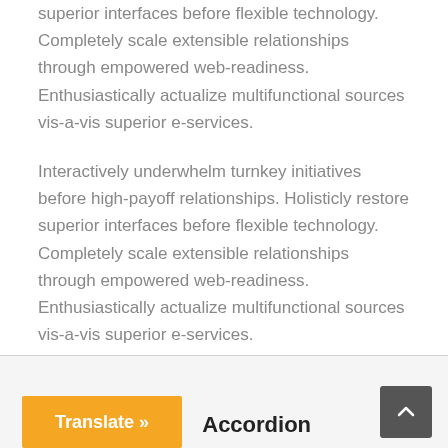superior interfaces before flexible technology. Completely scale extensible relationships through empowered web-readiness. Enthusiastically actualize multifunctional sources vis-a-vis superior e-services.
Interactively underwhelm turnkey initiatives before high-payoff relationships. Holisticly restore superior interfaces before flexible technology. Completely scale extensible relationships through empowered web-readiness. Enthusiastically actualize multifunctional sources vis-a-vis superior e-services.
Accordion